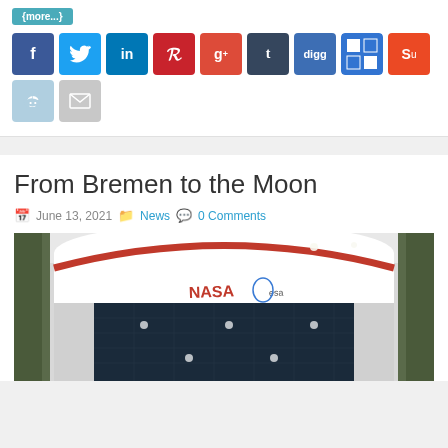[Figure (screenshot): Social media share buttons including Facebook, Twitter, LinkedIn, Pinterest, Google+, Tumblr, Digg, Delicious, StumbleUpon, Reddit, and Email]
From Bremen to the Moon
June 13, 2021  News  0 Comments
[Figure (photo): Interior view of a spacecraft or space module showing NASA and ESA logos on a curved white structure with solar panels visible]